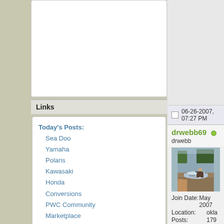[Figure (other): White box representing an advertisement or content placeholder]
Links
Today's Posts:
Sea Doo
Yamaha
Polaris
Kawasaki
Honda
Conversions
PWC Community
Marketplace
Google Site Search
[Figure (other): Google search box with ENHANCED BY Google branding and Search button]
06-26-2007, 07:27 PM
drwebb69
drwebb
[Figure (photo): Photo of a person riding a personal watercraft (jet ski) on a lake near shore with trees in background]
Join Date: May 2007
Location: okla
Posts: 179